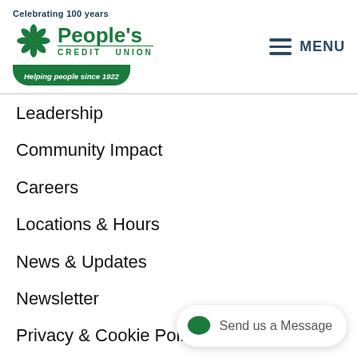Celebrating 100 years — People's Credit Union — Helping people since 1922
Leadership
Community Impact
Careers
Locations & Hours
News & Updates
Newsletter
Privacy & Cookie Policy
Fee Schedule
Overdraft Protection
Refer a Friend Today
[Figure (other): Chat button: Send us a Message]